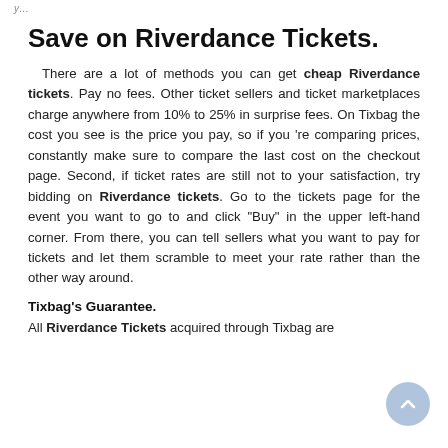y…
Save on Riverdance Tickets.
There are a lot of methods you can get cheap Riverdance tickets. Pay no fees. Other ticket sellers and ticket marketplaces charge anywhere from 10% to 25% in surprise fees. On Tixbag the cost you see is the price you pay, so if you 're comparing prices, constantly make sure to compare the last cost on the checkout page. Second, if ticket rates are still not to your satisfaction, try bidding on Riverdance tickets. Go to the tickets page for the event you want to go to and click "Buy" in the upper left-hand corner. From there, you can tell sellers what you want to pay for tickets and let them scramble to meet your rate rather than the other way around.
Tixbag's Guarantee.
All Riverdance Tickets acquired through Tixbag are